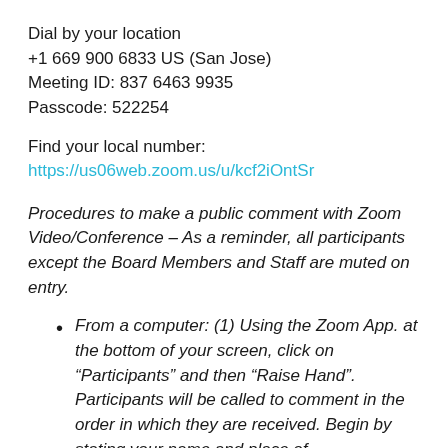Dial by your location
+1 669 900 6833 US (San Jose)
Meeting ID: 837 6463 9935
Passcode: 522254
Find your local number:
https://us06web.zoom.us/u/kcf2iOntSr
Procedures to make a public comment with Zoom Video/Conference – As a reminder, all participants except the Board Members and Staff are muted on entry.
From a computer: (1) Using the Zoom App. at the bottom of your screen, click on “Participants” and then “Raise Hand”. Participants will be called to comment in the order in which they are received. Begin by stating your name and place of